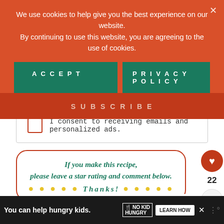We use cookies to help give you the best experience on our website. By continuing to use this website, you are agreeing to the use of cookies.
ACCEPT
PRIVACY POLICY
SUBSCRIBE
I consent to receiving emails and personalized ads.
If you make this recipe, please leave a star rating and comment below. ★★★★★ Thanks! ★★★★★
22
WHAT'S NEXT → Air Fryer Baked...
You can help hungry kids. NO KID HUNGRY LEARN HOW